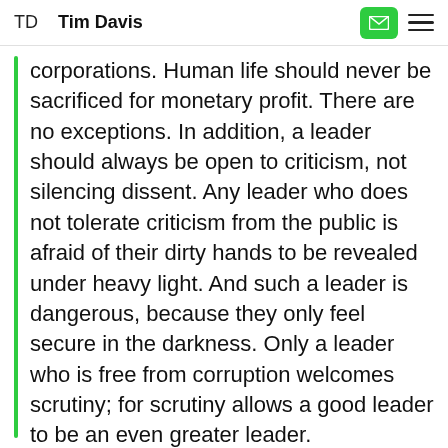TD  Tim Davis
corporations. Human life should never be sacrificed for monetary profit. There are no exceptions. In addition, a leader should always be open to criticism, not silencing dissent. Any leader who does not tolerate criticism from the public is afraid of their dirty hands to be revealed under heavy light. And such a leader is dangerous, because they only feel secure in the darkness. Only a leader who is free from corruption welcomes scrutiny; for scrutiny allows a good leader to be an even greater leader.